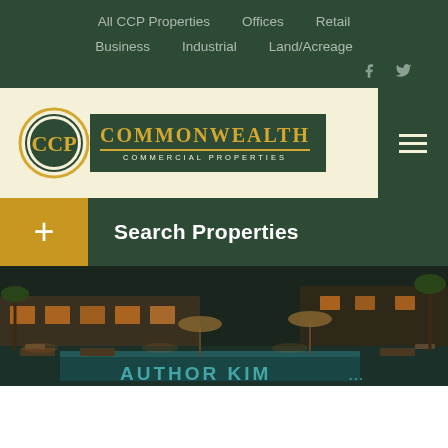All CCP Properties   Offices   Retail   Business   Industrial   Land/Acreage
[Figure (logo): Commonwealth Commercial Properties logo with CCP circular emblem and dark green background text block]
Search Properties
[Figure (photo): Night-time resort/hotel pool area with lounge chairs, umbrellas, palm trees, and warm building lighting. 'AUTHOR KIM' watermark in teal text.]